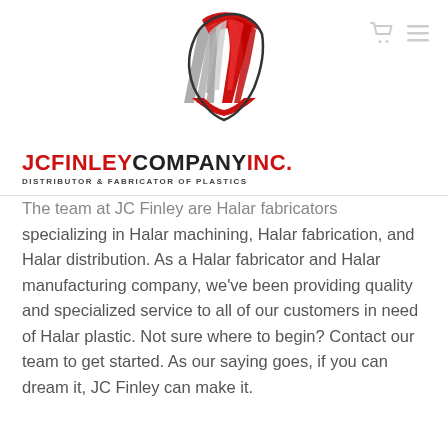[Figure (logo): JC Finley Company Inc. logo — stylized abstract shape with red and gray diagonal lines forming a fan/shield shape]
JC FINLEY COMPANY INC. DISTRIBUTOR & FABRICATOR OF PLASTICS
The team at JC Finley are Halar fabricators specializing in Halar machining, Halar fabrication, and Halar distribution. As a Halar fabricator and Halar manufacturing company, we've been providing quality and specialized service to all of our customers in need of Halar plastic. Not sure where to begin? Contact our team to get started. As our saying goes, if you can dream it, JC Finley can make it.